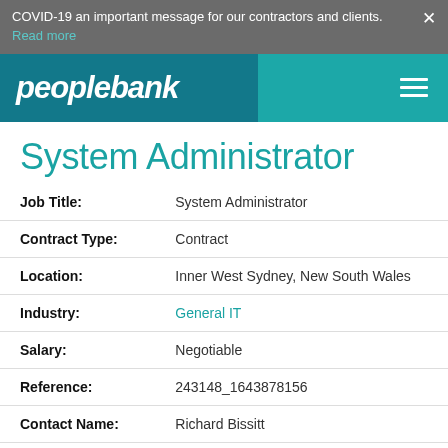COVID-19 an important message for our contractors and clients. Read more
[Figure (logo): Peoplebank company logo in white italic text on dark teal background with hamburger menu icon]
System Administrator
| Field | Value |
| --- | --- |
| Job Title: | System Administrator |
| Contract Type: | Contract |
| Location: | Inner West Sydney, New South Wales |
| Industry: | General IT |
| Salary: | Negotiable |
| Reference: | 243148_1643878156 |
| Contact Name: | Richard Bissitt |
| Contact Email: | richard.bissitt@peoplebank.com.au |